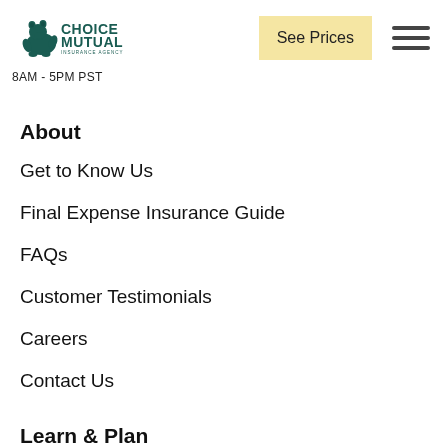Choice Mutual Insurance Agency | See Prices | 8AM - 5PM PST
About
Get to Know Us
Final Expense Insurance Guide
FAQs
Customer Testimonials
Careers
Contact Us
Learn & Plan
Best Burial Expense Companies